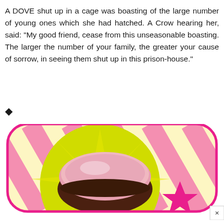A DOVE shut up in a cage was boasting of the large number of young ones which she had hatched. A Crow hearing her, said: "My good friend, cease from this unseasonable boasting. The larger the number of your family, the greater your cause of sorrow, in seeing them shut up in this prison-house."
[Figure (illustration): Colorful advertisement banner showing a macaron cookie and a pink star on a yellow and pink striped background with rounded rectangular border. Has a close (x) button in the bottom-right corner.]